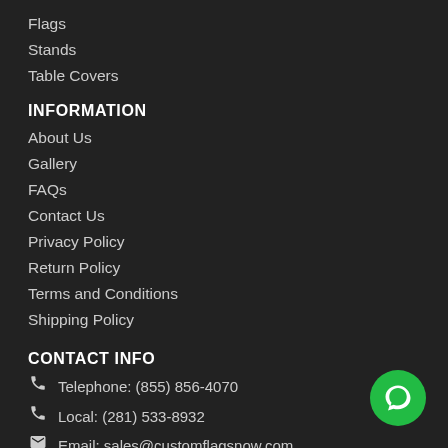Flags
Stands
Table Covers
INFORMATION
About Us
Gallery
FAQs
Contact Us
Privacy Policy
Return Policy
Terms and Conditions
Shipping Policy
CONTACT INFO
Telephone: (855) 856-4070
Local: (281) 533-8932
Email: sales@customflagsnow.com